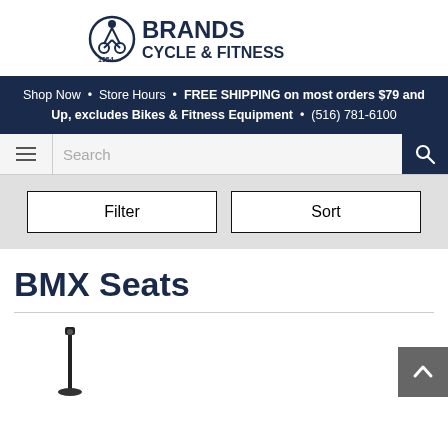[Figure (logo): Brands Cycle & Fitness logo with cyclist icon and text '1954 BRANDS CYCLE & FITNESS']
Shop Now  •  Store Hours  •  FREE SHIPPING on most orders $79 and Up, excludes Bikes & Fitness Equipment  •  (516) 781-6100
[Figure (screenshot): Search bar with hamburger menu icon on left and search magnifier icon on right]
[Figure (screenshot): Filter and Sort buttons side by side on gray background]
BMX Seats
[Figure (photo): Partial product images of BMX seats at bottom of page, with scroll-to-top button in bottom right corner]